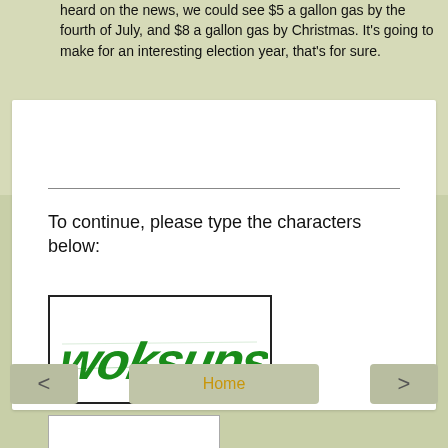heard on the news, we could see $5 a gallon gas by the fourth of July, and $8 a gallon gas by Christmas. It's going to make for an interesting election year, that's for sure.
Reply
To continue, please type the characters below:
[Figure (other): CAPTCHA image showing distorted green text characters in a white bordered box]
Home